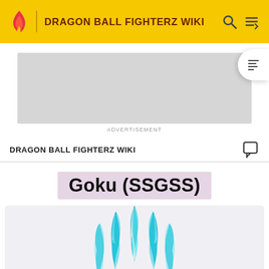DRAGON BALL FIGHTERZ WIKI
[Figure (other): Advertisement placeholder — grey rectangle]
ADVERTISEMENT
DRAGON BALL FIGHTERZ WIKI
Goku (SSGSS)
[Figure (illustration): Blue/teal spiky hair flame illustration — Goku SSGSS character art, cropped showing top of hair]